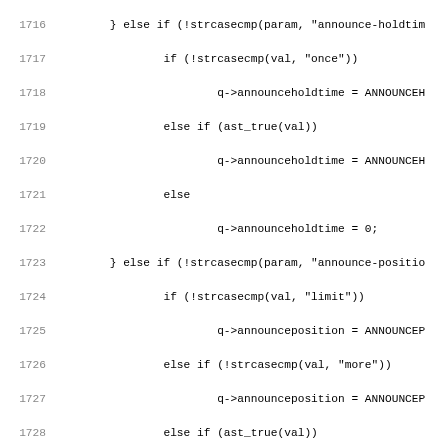[Figure (screenshot): Source code listing showing C code lines 1716-1747, dealing with queue announcement configuration parameters including announce-holdtime, announce-position, and periodic-announce handling with string parsing logic.]